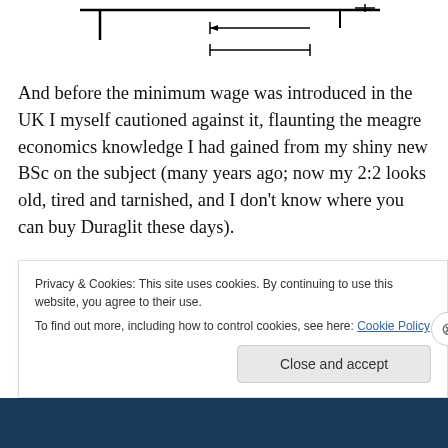[Figure (engineering-diagram): Partial engineering/schematic diagram showing lines and arrows at the top of the page]
And before the minimum wage was introduced in the UK I myself cautioned against it, flaunting the meagre economics knowledge I had gained from my shiny new BSc on the subject (many years ago; now my 2:2 looks old, tired and tarnished, and I don't know where you can buy Duraglit these days).
Privacy & Cookies: This site uses cookies. By continuing to use this website, you agree to their use.
To find out more, including how to control cookies, see here: Cookie Policy